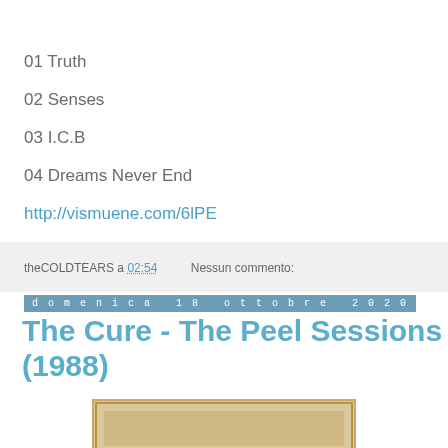01 Truth
02 Senses
03 I.C.B
04 Dreams Never End
http://vismuene.com/6lPE
theCOLDTEARS a 02:54    Nessun commento:
domenica 18 ottobre 2020
The Cure - The Peel Sessions (1988)
[Figure (photo): Album cover image partially visible at bottom of page]